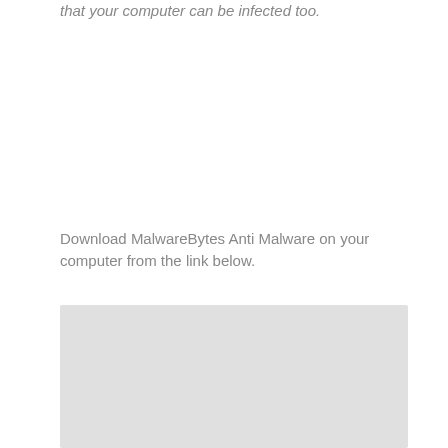that your computer can be infected too.
Download MalwareBytes Anti Malware on your computer from the link below.
[Figure (screenshot): A light gray placeholder image block representing a screenshot or embedded image below the download instructions text]